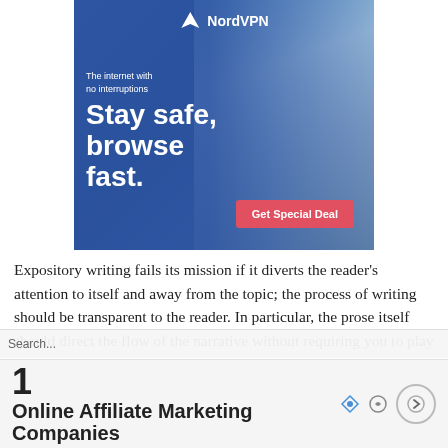[Figure (illustration): NordVPN advertisement banner showing a woman using a smartphone with blue overlay. Text reads 'The internet with no interruptions', 'Stay safe, browse fast.' with a red 'Get Special Deal' button. NordVPN logo at top.]
Expository writing fails its mission if it diverts the reader's attention to itself and away from the topic; the process of writing should be transparent to the reader. In particular, the prose itself should direct the flow of the narrative without requiring you to play tour guide by commenting on it. Do not say "Now that I have discussed the three theories of emotion, we can turn to the empirical work on each of them. I will begin with the
[Figure (infographic): Bottom overlay ad showing '1 Online Affiliate Marketing Companies' with navigation arrow and ad icons.]